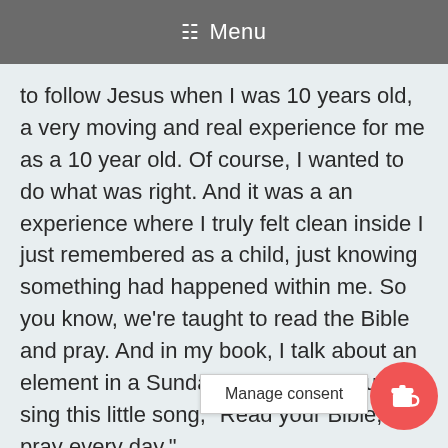≡ Menu
to follow Jesus when I was 10 years old, a very moving and real experience for me as a 10 year old. Of course, I wanted to do what was right. And it was a an experience where I truly felt clean inside I just remembered as a child, just knowing something had happened within me. So you know, we're taught to read the Bible and pray. And in my book, I talk about an element in a Sunday school, we would sing this little song, "Read your Bible, pray every day,"
Michelle Rayburn 06:52
I knew that song too.
Gwen Jackson 06:54
"...and yo grow." And then there was